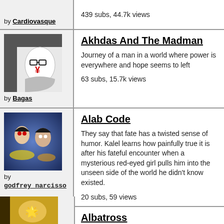by Cardiovasque
439 subs, 44.7k views
[Figure (illustration): Manga-style masked figure with red kanji markings on white mask and scarf]
by Bagas
Akhdas And The Madman
Journey of a man in a world where power is eve... to left
63 subs, 15.7k views
[Figure (illustration): Anime-style artwork showing two characters, a girl with red eyes and a boy, with glowing effects on blue background]
by godfrey_narcisso
Alab Code
They say that fate has a twisted sense of humo... learns how painfully true it is after his fateful en... a mysterious red-eyed girl pulls him into the uns... the world he didn't know existed.
20 subs, 59 views
Albatross
Miriam Lacombe, created by the hands of God,... the Empire of Sylvania. Fearing conspiracy and... Empress Lacombe created a Gargoyle-like race...
[Figure (illustration): Partial thumbnail - yellow/orange colored illustration at bottom]